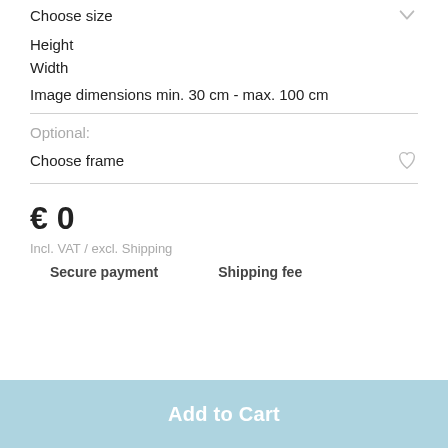Choose size
Height
Width
Image dimensions min. 30 cm - max. 100 cm
Optional:
Choose frame
€ 0
Incl. VAT / excl. Shipping
Secure payment
Shipping fee
Add to Cart